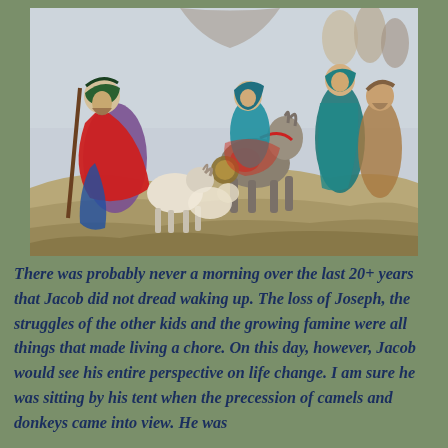[Figure (illustration): A painting depicting biblical figures including men in robes and head coverings, a woman on a donkey, sheep including a ram, and other travelers, rendered in a watercolor style.]
There was probably never a morning over the last 20+ years that Jacob did not dread waking up. The loss of Joseph, the struggles of the other kids and the growing famine were all things that made living a chore. On this day, however, Jacob would see his entire perspective on life change. I am sure he was sitting by his tent when the precession of camels and donkeys came into view. He was